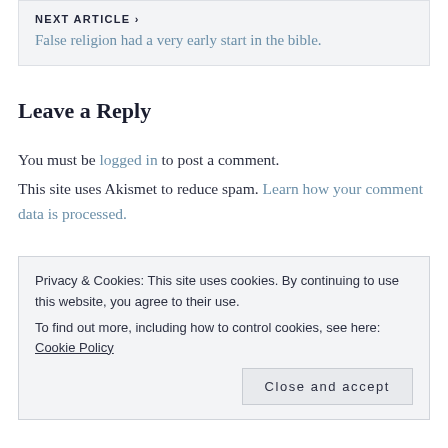NEXT ARTICLE ›
False religion had a very early start in the bible.
Leave a Reply
You must be logged in to post a comment. This site uses Akismet to reduce spam. Learn how your comment data is processed.
Privacy & Cookies: This site uses cookies. By continuing to use this website, you agree to their use.
To find out more, including how to control cookies, see here: Cookie Policy
Close and accept